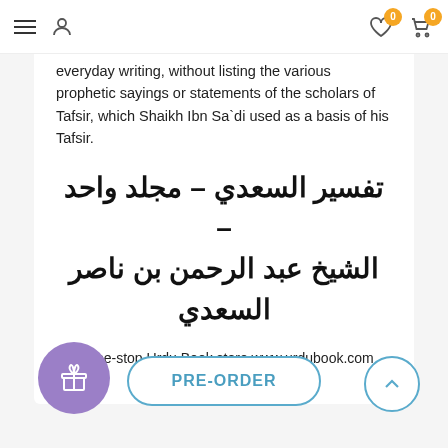Navigation bar with hamburger menu, user icon, wishlist (0), and cart (0)
everyday writing, without listing the various prophetic sayings or statements of the scholars of Tafsir, which Shaikh Ibn Sa`di used as a basis of his Tafsir.
تفسير السعدي – مجلد واحد – الشيخ عبد الرحمن بن ناصر السعدي
Your one-stop Urdu Book store www.urdubook.com